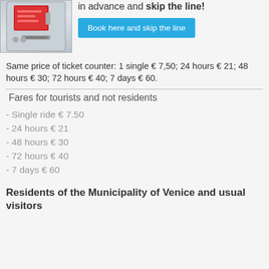[Figure (photo): Ticket vending machine for Venice water bus (vaporetto)]
in advance and skip the line!
Book here and skip the line
Same price of ticket counter: 1 single € 7,50; 24 hours € 21; 48 hours € 30; 72 hours € 40; 7 days € 60.
Fares for tourists and not residents
- Single ride € 7.50
- 24 hours € 21
- 48 hours € 30
- 72 hours € 40
- 7 days € 60
Residents of the Municipality of Venice and usual visitors